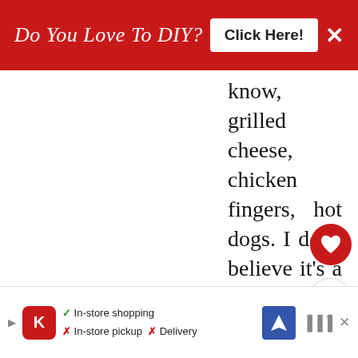[Figure (screenshot): Red advertisement banner at top: 'Do You Love To DIY?' with 'Click Here!' button and X close button]
know, grilled cheese, chicken fingers, hot dogs. I don't believe it's a compliment. ;) AND if it makes you feel better, my machine hates me...I spend more time ripping and unjamming the bobbin than I do actually sewing anything. AND if I'm going to be really honest here, it's not just my machine, any machine I touch. So I am thinking it's operator
[Figure (screenshot): Bottom advertisement bar showing Kroger store info: In-store shopping (checkmark), In-store pickup (X), Delivery (X), with navigation arrow icon and audio wave icon]